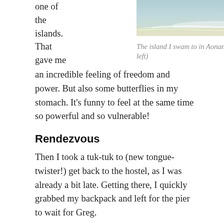one of the islands. That gave me an incredible feeling of freedom and power. But also some butterflies in my stomach. It's funny to feel at the same time so powerful and so vulnerable!
[Figure (photo): Beach/ocean scene with waves and sand, aerial or ground-level view]
The island I swam to in Aonang (on the left)
Rendezvous
Then I took a tuk-tuk to (new tongue-twister!) get back to the hostel, as I was already a bit late. Getting there, I quickly grabbed my backpack and left for the pier to wait for Greg.
We had agreed to meet at 14:30. I arrived a little early and lied down at a bench by the pier to wait for him. He